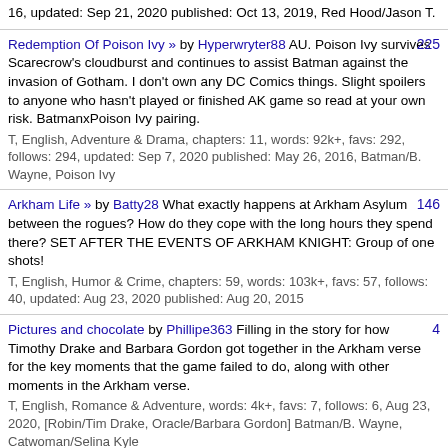16, updated: Sep 21, 2020 published: Oct 13, 2019, Red Hood/Jason T.
Redemption Of Poison Ivy » by Hyperwryter88 AU. Poison Ivy survives Scarecrow's cloudburst and continues to assist Batman against the invasion of Gotham. I don't own any DC Comics things. Slight spoilers to anyone who hasn't played or finished AK game so read at your own risk. BatmanxPoison Ivy pairing.
T, English, Adventure & Drama, chapters: 11, words: 92k+, favs: 292, follows: 294, updated: Sep 7, 2020 published: May 26, 2016, Batman/B. Wayne, Poison Ivy
225
Arkham Life » by Batty28 What exactly happens at Arkham Asylum between the rogues? How do they cope with the long hours they spend there? SET AFTER THE EVENTS OF ARKHAM KNIGHT: Group of one shots!
T, English, Humor & Crime, chapters: 59, words: 103k+, favs: 57, follows: 40, updated: Aug 23, 2020 published: Aug 20, 2015
146
Pictures and chocolate by Phillipe363 Filling in the story for how Timothy Drake and Barbara Gordon got together in the Arkham verse for the key moments that the game failed to do, along with other moments in the Arkham verse.
T, English, Romance & Adventure, words: 4k+, favs: 7, follows: 6, Aug 23, 2020, [Robin/Tim Drake, Oracle/Barbara Gordon] Batman/B. Wayne, Catwoman/Selina Kyle
4
Cigarette Smoke & Snark » by ScaryScarecrows A collection of one-shots involving Jason Todd. Or, Put That Robin Back Where It Came From Or So Help Me: a plea from Gotham's Underworld to the Joker.
T, English, Crime & Humor, chapters: 164, words: 268k+, favs: 62, follows: 52, updated: Jul 11, 2020 published: Nov 29, 2017, Red Hood/Jason T.
304